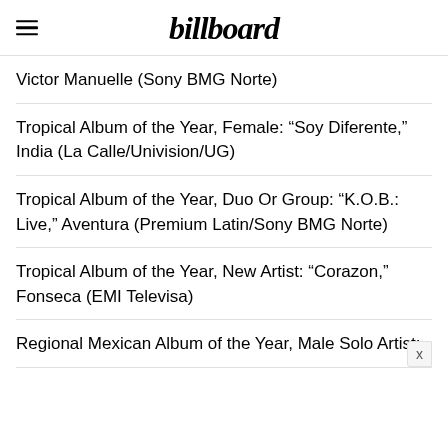billboard
Victor Manuelle (Sony BMG Norte)
Tropical Album of the Year, Female: “Soy Diferente,” India (La Calle/Univision/UG)
Tropical Album of the Year, Duo Or Group: “K.O.B.: Live,” Aventura (Premium Latin/Sony BMG Norte)
Tropical Album of the Year, New Artist: “Corazon,” Fonseca (EMI Televisa)
Regional Mexican Album of the Year, Male Solo Artist: